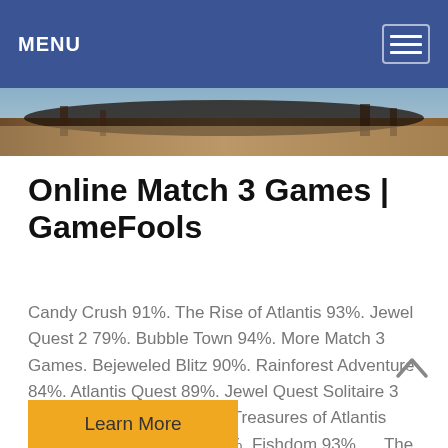MENU
[Figure (photo): Panoramic outdoor scene, possibly a construction or mining site with machinery, dark tones]
Online Match 3 Games | GameFools
Candy Crush 91%. The Rise of Atlantis 93%. Jewel Quest 2 79%. Bubble Town 94%. More Match 3 Games. Bejeweled Blitz 90%. Rainforest Adventure 84%. Atlantis Quest 89%. Jewel Quest Solitaire 3 95%. Snow Queen 2 97%. Treasures of Atlantis 79%. Runes of Mystery 91%. Fishdom 93%. ... The Quest for the Golden Banana. Jewel Quest 3. Jewel Quest: Seven ...
Learn More